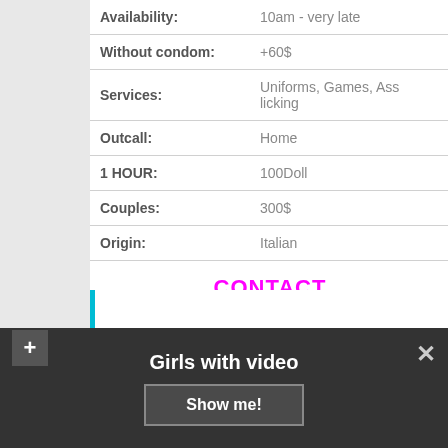| Availability: | 10am - very late |
| Without condom: | +60$ |
| Services: | Uniforms, Games, Ass licking |
| Outcall: | Home |
| 1 HOUR: | 100Doll |
| Couples: | 300$ |
| Origin: | Italian |
CONTACT
Stats:
Girls with video
Show me!